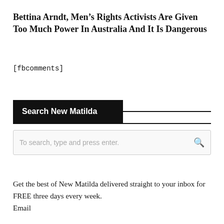Bettina Arndt, Men’s Rights Activists Are Given Too Much Power In Australia And It Is Dangerous
[fbcomments]
Search New Matilda
To search, type and press enter.
Get the best of New Matilda delivered straight to your inbox for FREE three days every week.
Email